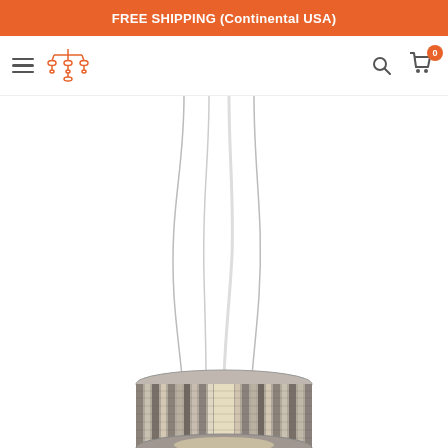FREE SHIPPING (Continental USA)
[Figure (logo): Chandeliers Direct logo with chandelier icon and orange text]
[Figure (photo): Modern pendant chandelier with cylindrical chrome/steel shade made of vertical reflective strips, hanging from thin wires on a white background]